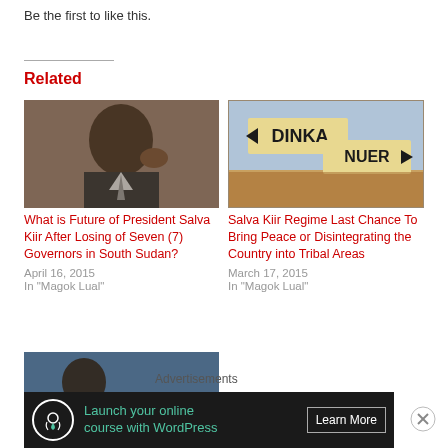Be the first to like this.
Related
[Figure (photo): Man in suit, close-up portrait photo]
What is Future of President Salva Kiir After Losing of Seven (7) Governors in South Sudan?
April 16, 2015
In "Magok Lual"
[Figure (photo): Crowd with signs reading DINKA and NUER with arrows]
Salva Kiir Regime Last Chance To Bring Peace or Disintegrating the Country into Tribal Areas
March 17, 2015
In "Magok Lual"
[Figure (photo): Partial image at bottom, person partially visible]
Advertisements
Launch your online course with WordPress  Learn More